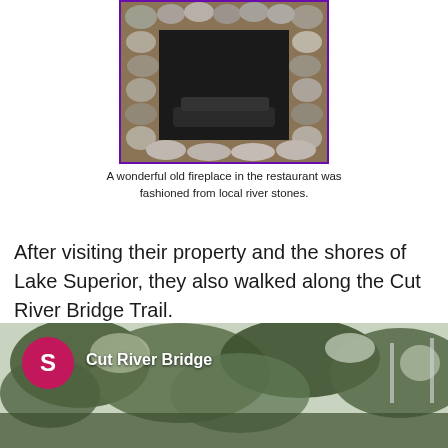[Figure (photo): A stone fireplace with rounded river rocks surrounding a black firebox insert, located inside a restaurant with wooden flooring]
A wonderful old fireplace in the restaurant was fashioned from local river stones.
After visiting their property and the shores of Lake Superior, they also walked along the Cut River Bridge Trail.
[Figure (photo): A map or photo of Cut River Bridge area showing trees and foliage with a pink circle marker labeled 'S' and text 'Cut River Bridge']